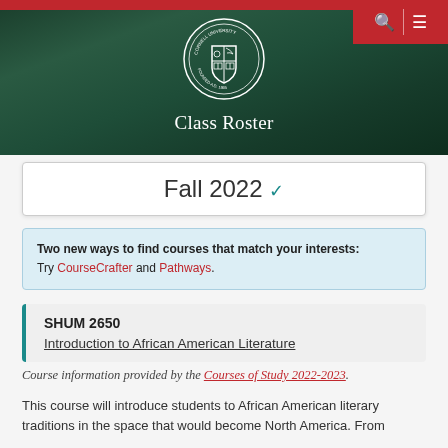[Figure (screenshot): Cornell University Class Roster website header with campus background image, Cornell seal, red navigation bar with search and menu icons]
Class Roster
Fall 2022
Two new ways to find courses that match your interests: Try CourseCrafter and Pathways.
SHUM 2650
Introduction to African American Literature
Course information provided by the Courses of Study 2022-2023.
This course will introduce students to African American literary traditions in the space that would become North America. From